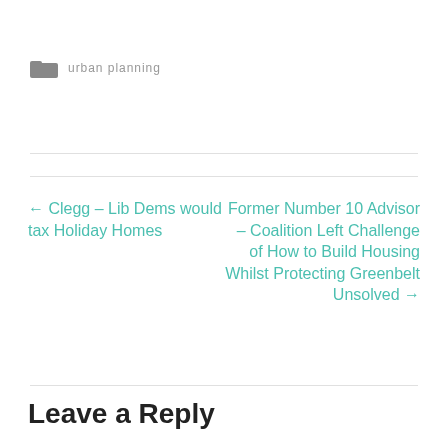urban planning
← Clegg – Lib Dems would tax Holiday Homes
Former Number 10 Advisor – Coalition Left Challenge of How to Build Housing Whilst Protecting Greenbelt Unsolved →
Leave a Reply